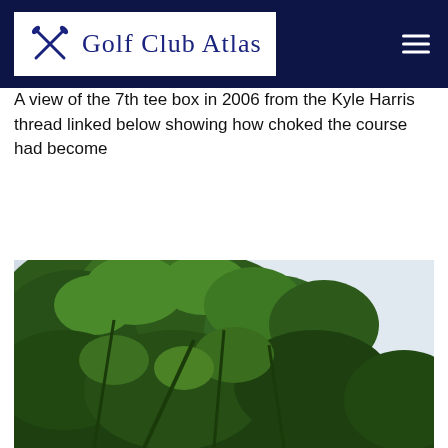Golf Club Atlas
A view of the 7th tee box in 2006 from the Kyle Harris thread linked below showing how choked the course had become
[Figure (photo): A photograph of dense tree canopy with overhanging branches viewed from the 7th tee box in 2006, showing heavily wooded and choked conditions on a golf course, taken against a pale grey-white sky.]